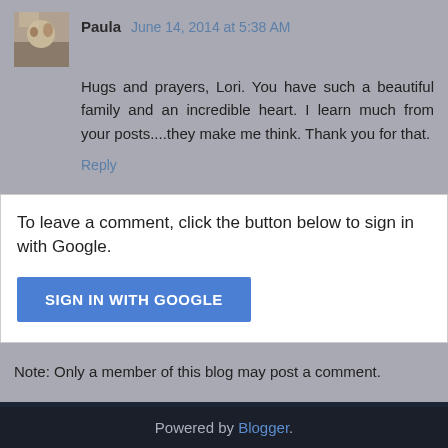Paula June 14, 2014 at 5:38 AM
Hugs and prayers, Lori. You have such a beautiful family and an incredible heart. I learn much from your posts....they make me think. Thank you for that.
Reply
To leave a comment, click the button below to sign in with Google.
SIGN IN WITH GOOGLE
Note: Only a member of this blog may post a comment.
Home
View web version
Powered by Blogger.